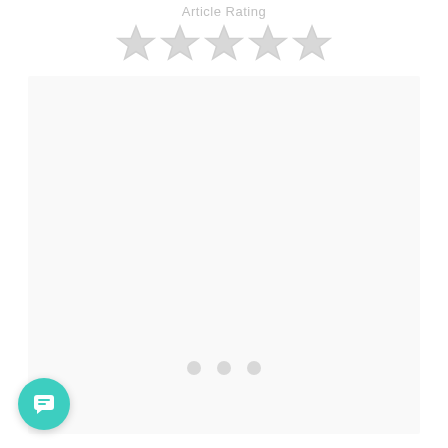Article Rating
[Figure (other): Five empty/unfilled star icons for article rating, rendered in light gray]
[Figure (other): Large light gray content placeholder box with three loading dots in the center]
[Figure (other): Teal circular chat/message button in the bottom left corner with a white chat bubble icon]